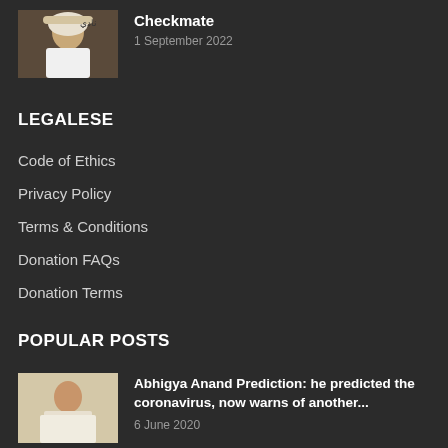[Figure (photo): Thumbnail photo of a man wearing white traditional Arab dress and headwear]
Checkmate
1 September 2022
LEGALESE
Code of Ethics
Privacy Policy
Terms & Conditions
Donation FAQs
Donation Terms
POPULAR POSTS
[Figure (photo): Thumbnail photo of a young person in a floral shirt seated indoors]
Abhigya Anand Prediction: he predicted the coronavirus, now warns of another...
6 June 2020